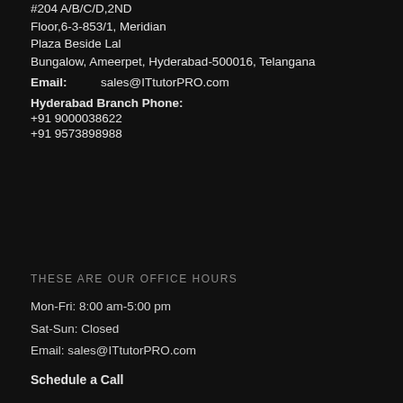#204 A/B/C/D,2ND Floor,6-3-853/1, Meridian Plaza Beside Lal Bungalow, Ameerpet, Hyderabad-500016, Telangana
Email: sales@ITtutorPRO.com
Hyderabad Branch Phone:
+91 9000038622
+91 9573898988
THESE ARE OUR OFFICE HOURS
Mon-Fri: 8:00 am-5:00 pm
Sat-Sun: Closed
Email: sales@ITtutorPRO.com
Schedule a Call